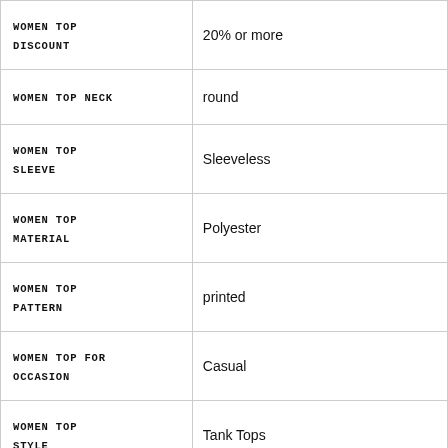| Attribute | Value |
| --- | --- |
| WOMEN TOP DISCOUNT | 20% or more |
| WOMEN TOP NECK | round |
| WOMEN TOP SLEEVE | Sleeveless |
| WOMEN TOP MATERIAL | Polyester |
| WOMEN TOP PATTERN | printed |
| WOMEN TOP FOR OCCASION | Casual |
| WOMEN TOP STYLE | Tank Tops |
| WOMEN TOP LENGTH | regular |